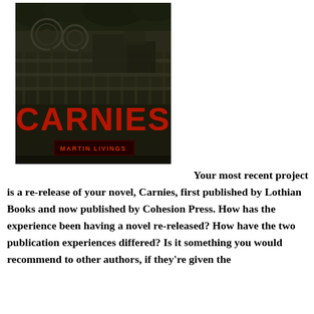[Figure (photo): Book cover of 'Carnies' by Martin Livings. Dark, moody background with industrial/carnival structures. Large red distressed text reading 'CARNIES' in the lower portion, with 'MARTIN LIVINGS' in smaller red text on a dark banner at the bottom.]
Your most recent project is a re-release of your novel, Carnies, first published by Lothian Books and now published by Cohesion Press. How has the experience been having a novel re-released? How have the two publication experiences differed? Is it something you would recommend to other authors, if they're given the